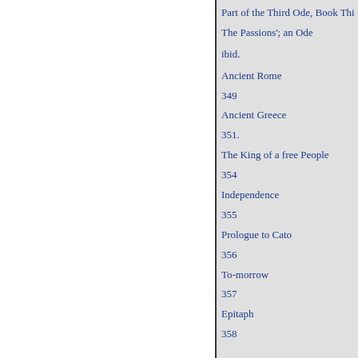Part of the Third Ode, Book Thi
The Passions'; an Ode
ibid.
Ancient Rome
349
Ancient Greece
351.
The King of a free People
354
Independence
355
Prologue to Cato
356
To-morrow
357
Epitaph
358